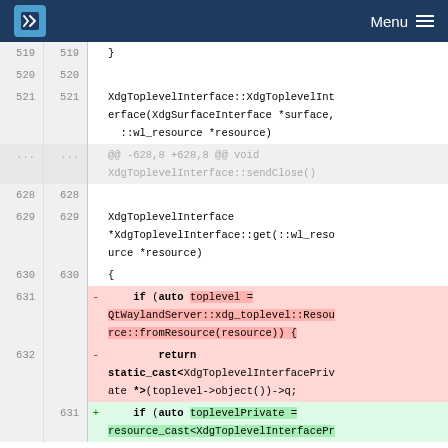KDE Menu
[Figure (screenshot): Code diff view showing XdgToplevelInterface source code with line numbers, diff markers, deleted lines (red) and added lines (green). Lines 519-632 visible.]